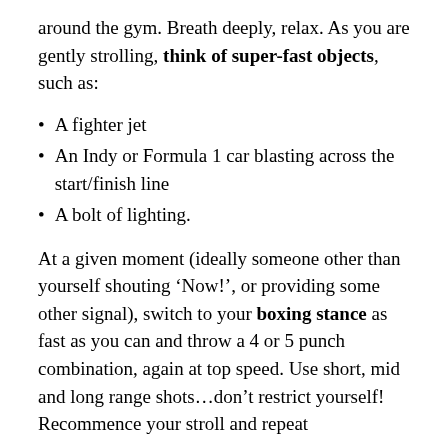around the gym. Breath deeply, relax. As you are gently strolling, think of super-fast objects, such as:
A fighter jet
An Indy or Formula 1 car blasting across the start/finish line
A bolt of lighting.
At a given moment (ideally someone other than yourself shouting ‘Now!’, or providing some other signal), switch to your boxing stance as fast as you can and throw a 4 or 5 punch combination, again at top speed. Use short, mid and long range shots…don’t restrict yourself! Recommence your stroll and repeat